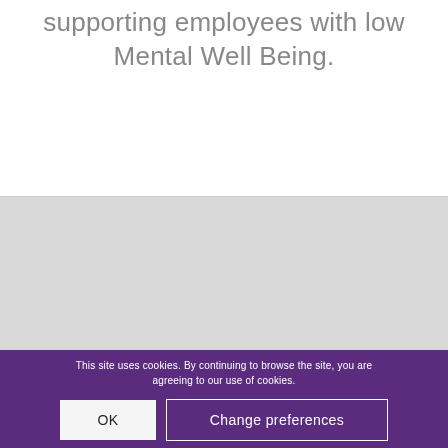supporting employees with low Mental Well Being.
[Figure (other): Light gray rectangular section below title text]
This site uses cookies. By continuing to browse the site, you are agreeing to our use of cookies.
OK
Change preferences